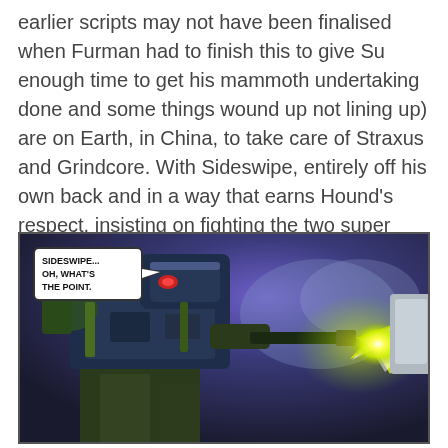earlier scripts may not have been finalised when Furman had to finish this to give Su enough time to get his mammoth undertaking done and some things wound up not lining up) are on Earth, in China, to take care of Straxus and Grindcore. With Sideswipe, entirely off his own back and in a way that earns Hound's respect, insisting on fighting the two super powered Dead Universers alone whilst they carry out the main part of the plan.
[Figure (illustration): Comic panel showing a large robot (mech) with dark blue/purple and green coloring firing a weapon that produces a bright yellow-green muzzle flash. A speech bubble reads: SIDESWIPE... OH, WHAT'S THE POINT.]